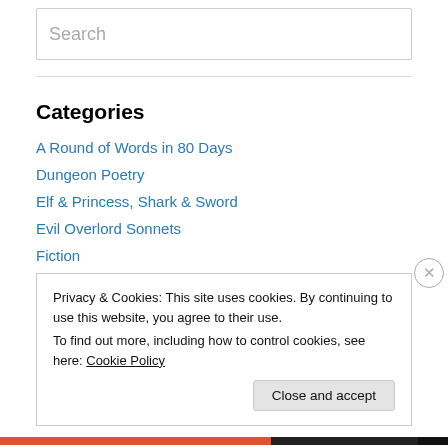Search
Categories
A Round of Words in 80 Days
Dungeon Poetry
Elf & Princess, Shark & Sword
Evil Overlord Sonnets
Fiction
goals
Ivy and Team Jenkins
Juliet Tirfos
Privacy & Cookies: This site uses cookies. By continuing to use this website, you agree to their use. To find out more, including how to control cookies, see here: Cookie Policy
Close and accept